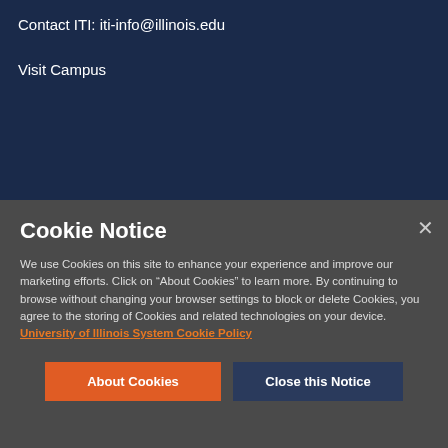Contact ITI: iti-info@illinois.edu
Visit Campus
Cookie Notice
We use Cookies on this site to enhance your experience and improve our marketing efforts. Click on “About Cookies” to learn more. By continuing to browse without changing your browser settings to block or delete Cookies, you agree to the storing of Cookies and related technologies on your device. University of Illinois System Cookie Policy
About Cookies
Close this Notice